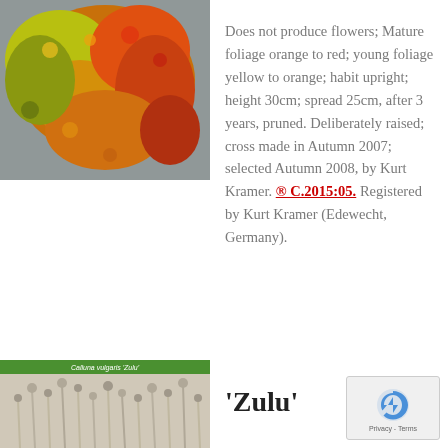[Figure (photo): Photograph of Calluna vulgaris plant with orange, red, and yellow foliage against a grey background]
Does not produce flowers; Mature foliage orange to red; young foliage yellow to orange; habit upright; height 30cm; spread 25cm, after 3 years, pruned. Deliberately raised; cross made in Autumn 2007; selected Autumn 2008, by Kurt Kramer. ® C.2015:05. Registered by Kurt Kramer (Edewecht, Germany).
[Figure (photo): Photograph of Calluna vulgaris 'Zulu' plant with label showing cultivar name]
'Zulu'